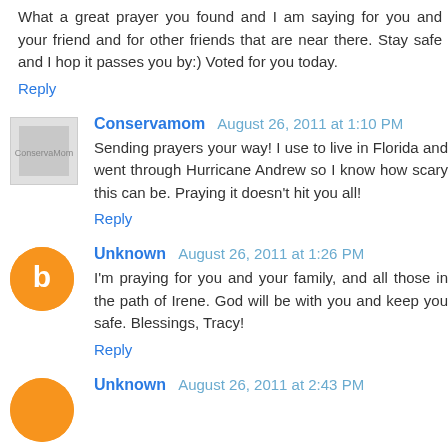What a great prayer you found and I am saying for you and your friend and for other friends that are near there. Stay safe and I hop it passes you by:) Voted for you today.
Reply
Conservamom  August 26, 2011 at 1:10 PM
Sending prayers your way! I use to live in Florida and went through Hurricane Andrew so I know how scary this can be. Praying it doesn't hit you all!
Reply
Unknown  August 26, 2011 at 1:26 PM
I'm praying for you and your family, and all those in the path of Irene. God will be with you and keep you safe. Blessings, Tracy!
Reply
Unknown  August 26, 2011 at 2:43 PM